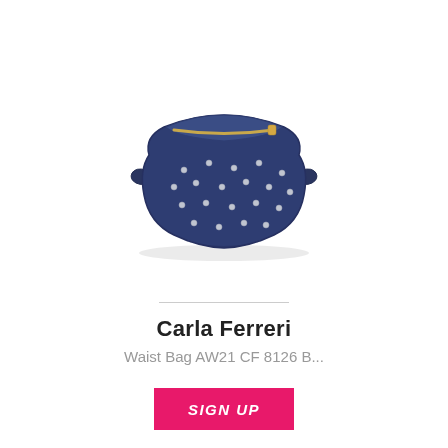[Figure (photo): Navy blue suede waist bag / fanny pack with gold zipper and silver metal studs scattered across the front, photographed on white background]
Carla Ferreri
Waist Bag AW21 CF 8126 B...
SIGN UP